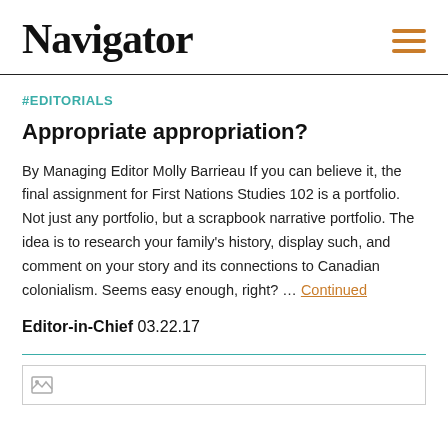Navigator
#EDITORIALS
Appropriate appropriation?
By Managing Editor Molly Barrieau If you can believe it, the final assignment for First Nations Studies 102 is a portfolio. Not just any portfolio, but a scrapbook narrative portfolio. The idea is to research your family's history, display such, and comment on your story and its connections to Canadian colonialism. Seems easy enough, right? … Continued
Editor-in-Chief 03.22.17
[Figure (photo): Partial image stub at bottom of page]